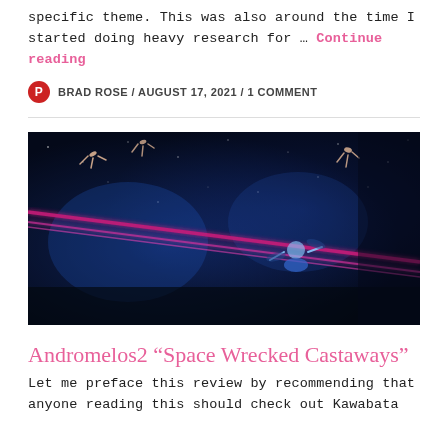specific theme. This was also around the time I started doing heavy research for … Continue reading
BRAD ROSE / AUGUST 17, 2021 / 1 COMMENT
[Figure (photo): A dark blue fantasy/anime scene showing figures floating in space with bright pink/magenta diagonal light beams crossing the image.]
Andromelos2 “Space Wrecked Castaways”
Let me preface this review by recommending that anyone reading this should check out Kawabata